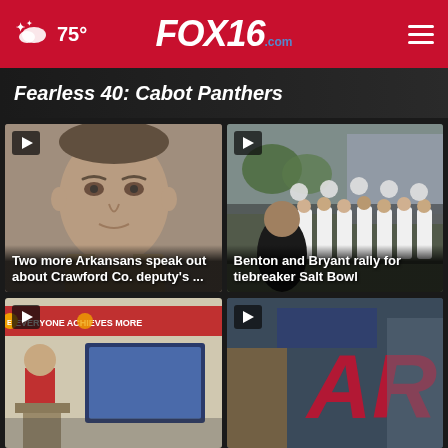FOX16.com — 75°
Fearless 40: Cabot Panthers
[Figure (photo): Video thumbnail of a man's face with play button overlay and text 'Two more Arkansans speak out about Crawford Co. deputy's ...']
[Figure (photo): Video thumbnail of cheerleaders at an outdoor rally with play button overlay and text 'Benton and Bryant rally for tiebreaker Salt Bowl']
[Figure (photo): Video thumbnail of a person at a podium with a banner reading 'Everyone Achieves More' with play button overlay]
[Figure (photo): Video thumbnail showing partial AR logo/branding with play button overlay]